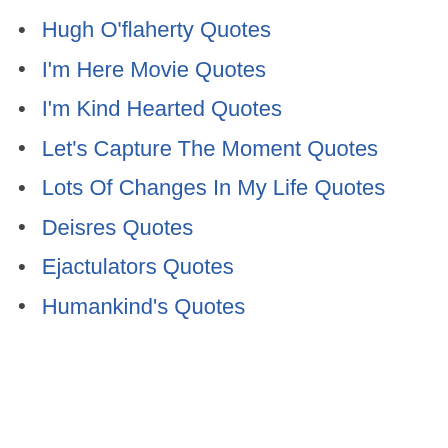Hugh O'flaherty Quotes
I'm Here Movie Quotes
I'm Kind Hearted Quotes
Let's Capture The Moment Quotes
Lots Of Changes In My Life Quotes
Deisres Quotes
Ejactulators Quotes
Humankind's Quotes